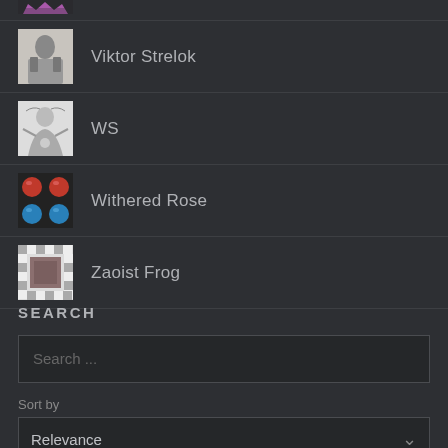[Figure (illustration): Partial avatar image at top, cropped pink/purple crown or abstract shape]
Viktor Strelok
WS
Withered Rose
Zaoist Frog
SEARCH
Search ...
Sort by
Relevance